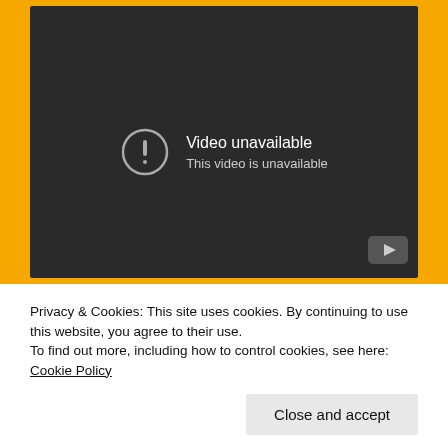[Figure (screenshot): YouTube embedded video player showing 'Video unavailable - This video is unavailable' message on a dark background, with a YouTube play button logo in the bottom-right corner.]
Privacy & Cookies: This site uses cookies. By continuing to use this website, you agree to their use.
To find out more, including how to control cookies, see here: Cookie Policy
Close and accept